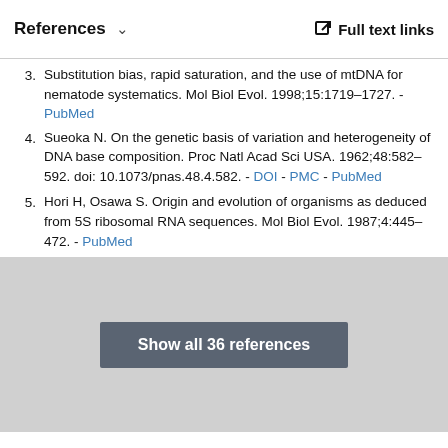References  ∨  Full text links
3. [Blouin M, Yowell C, Courtney C, Dame J.] Substitution bias, rapid saturation, and the use of mtDNA for nematode systematics. Mol Biol Evol. 1998;15:1719–1727. - PubMed
4. Sueoka N. On the genetic basis of variation and heterogeneity of DNA base composition. Proc Natl Acad Sci USA. 1962;48:582–592. doi: 10.1073/pnas.48.4.582. - DOI - PMC - PubMed
5. Hori H, Osawa S. Origin and evolution of organisms as deduced from 5S ribosomal RNA sequences. Mol Biol Evol. 1987;4:445–472. - PubMed
Show all 36 references